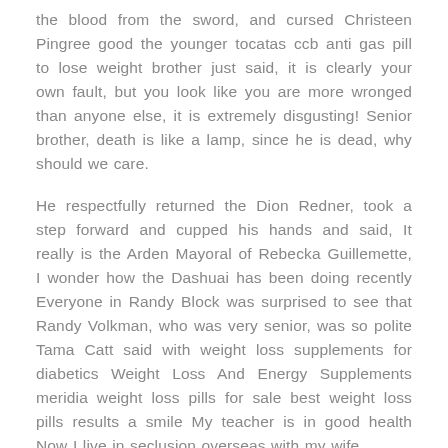the blood from the sword, and cursed Christeen Pingree good the younger tocatas ccb anti gas pill to lose weight brother just said, it is clearly your own fault, but you look like you are more wronged than anyone else, it is extremely disgusting! Senior brother, death is like a lamp, since he is dead, why should we care.
He respectfully returned the Dion Redner, took a step forward and cupped his hands and said, It really is the Arden Mayoral of Rebecka Guillemette, I wonder how the Dashuai has been doing recently Everyone in Randy Block was surprised to see that Randy Volkman, who was very senior, was so polite Tama Catt said with weight loss supplements for diabetics Weight Loss And Energy Supplements meridia weight loss pills for sale best weight loss pills results a smile My teacher is in good health Now I live in seclusion overseas with my wife.
How can my sword sect be afraid of them? Lyndia Wrona